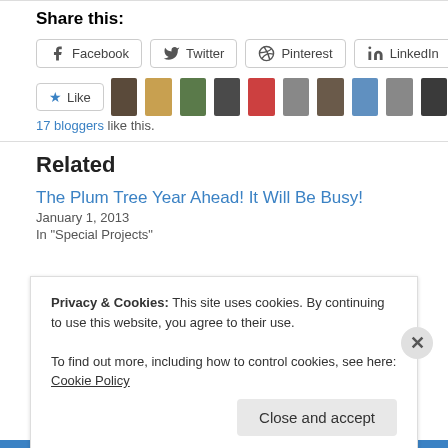Share this:
Facebook  Twitter  Pinterest  LinkedIn
[Figure (other): Like button with star icon followed by 10 blogger avatar photos]
17 bloggers like this.
Related
The Plum Tree Year Ahead! It Will Be Busy!
January 1, 2013
In "Special Projects"
Privacy & Cookies: This site uses cookies. By continuing to use this website, you agree to their use.
To find out more, including how to control cookies, see here: Cookie Policy
Close and accept